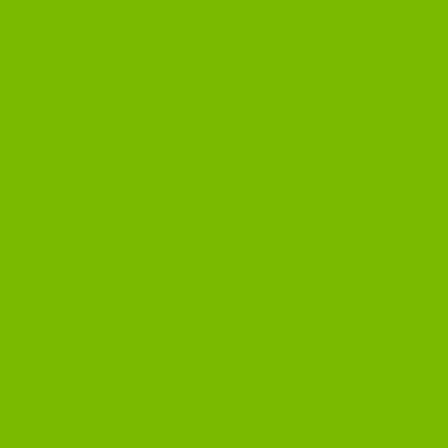[Figure (illustration): Green sidebar/column on the left side of the page]
gain, particularly as it sav...
(Our current house, a 1960... bought it, but applying som... consumption about 15%, a...
Note: If you are trying to s... need to take into account th... average than 2007! See www... more information.
5. Electricity (2.3 tonnes CO...
Low-energy lighting is a b... fluorescent bulbs were slow... were also expensive. If you... the technology has improve... come down. Each bulb also... is definitely a major cost a... least an hour per day. The f... millions of conventional lig... by low energy bulbs.
Note that these low-energy...